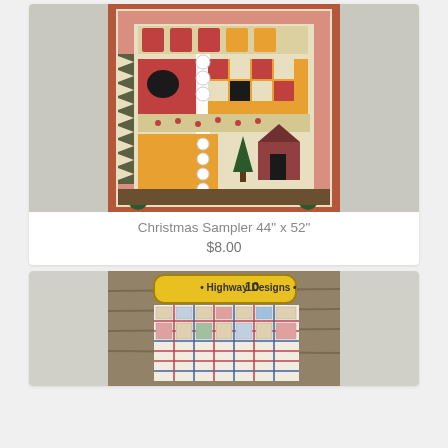[Figure (photo): Christmas Sampler quilt pattern photo showing a decorative quilt with red and beige colors, snowmen border, crow applique, house, trees, and various patchwork blocks. 44 inch by 52 inch quilt.]
Christmas Sampler 44" x 52"
$8.00
[Figure (photo): Highway 10 Designs quilt pattern photo showing a colorful log cabin style quilt with red, blue, and green squares arranged in a grid pattern, with a Highway 10 Designs logo banner at the top.]